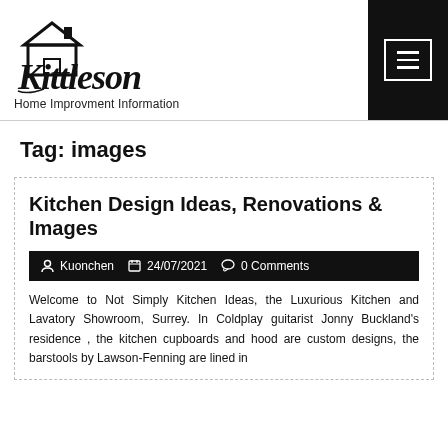[Figure (logo): Kittleson script logo with house icon above]
Home Improvment Information
Tag: images
Kitchen Design Ideas, Renovations & Images
Kuonchen   24/07/2021   0 Comments
Welcome to Not Simply Kitchen Ideas, the Luxurious Kitchen and Lavatory Showroom, Surrey. In Coldplay guitarist Jonny Buckland's residence , the kitchen cupboards and hood are custom designs, the barstools by Lawson-Fenning are lined in